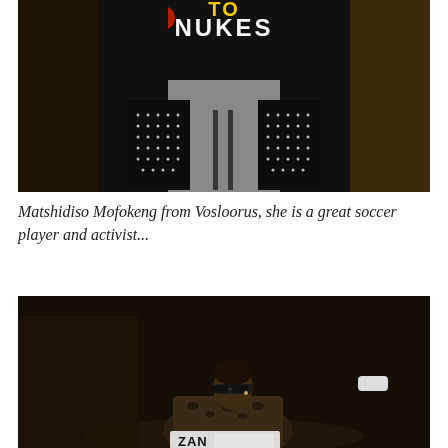[Figure (photo): Close-up of a person wearing a black jacket or shirt with text reading 'NUKES' visible at top, with decorative studded black panels on either side. Dark background, gray pants visible.]
Matshidiso Mofokeng from Vosloorus, she is a great soccer player and activist...
[Figure (photo): A young person with short hair wearing sunglasses, looking back over their shoulder. They appear to be holding or wearing something with text starting with 'ZAN'. Dark background with other people partially visible.]